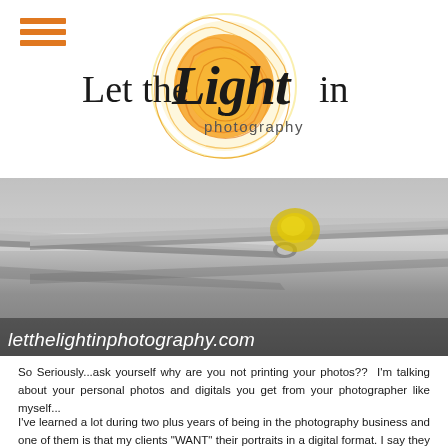[Figure (logo): Let the Light in photography logo — stylized script 'Light' inside an orange/yellow swirled sun circle, with 'Let the' and 'in' in serif text and 'photography' in small caps below]
[Figure (photo): Close-up photo of scissors or tweezers on a reflective metallic surface with a blurred yellow object, overlaid with italic white text: letthelightinphotography.com]
So Seriously...ask yourself why are you not printing your photos??  I'm talking about your personal photos and digitals you get from your photographer like myself...
I've learned a lot during two plus years of being in the photography business and one of them is that my clients "WANT" their portraits in a digital format. I say they want